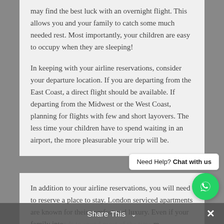may find the best luck with an overnight flight. This allows you and your family to catch some much needed rest. Most importantly, your children are easy to occupy when they are sleeping!

In keeping with your airline reservations, consider your departure location. If you are departing from the East Coast, a direct flight should be available. If departing from the Midwest or the West Coast, planning for flights with few and short layovers. The less time your children have to spend waiting in an airport, the more pleasurable your trip will be.
In addition to your airline reservations, you will need to reserve a place to stay. London serviced apartments are known for their comfort and luxury. Even if your family intends to spend most of the time outdoors, quality accommodation is important. Apartments with family rooms, game rooms, and
[Figure (other): WhatsApp chat widget with green circular icon and 'Need Help? Chat with us' tooltip]
Share This ∨  ✕